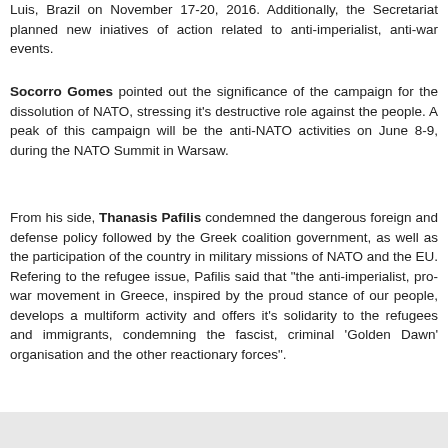Luis, Brazil on November 17-20, 2016. Additionally, the Secretariat planned new iniatives of action related to anti-imperialist, anti-war events.
Socorro Gomes pointed out the significance of the campaign for the dissolution of NATO, stressing it's destructive role against the people. A peak of this campaign will be the anti-NATO activities on June 8-9, during the NATO Summit in Warsaw.
From his side, Thanasis Pafilis condemned the dangerous foreign and defense policy followed by the Greek coalition government, as well as the participation of the country in military missions of NATO and the EU. Refering to the refugee issue, Pafilis said that "the anti-imperialist, pro-war movement in Greece, inspired by the proud stance of our people, develops a multiform activity and offers it's solidarity to the refugees and immigrants, condemning the fascist, criminal 'Golden Dawn' organisation and the other reactionary forces".